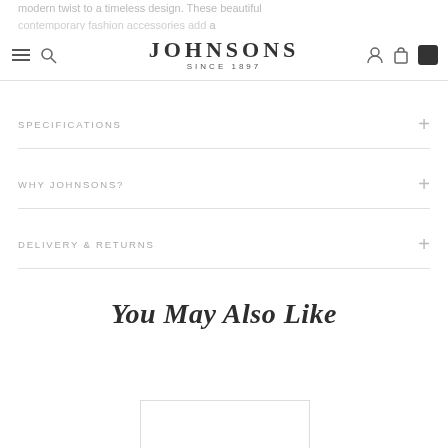modern twist to a timeless design. These beautiful contemporary fashion accessories add a touch of luxury to any outfit.
JOHNSONS SINCE 1897
SPECIFICATIONS
WHY JOHNSONS?
DELIVERY & RETURNS
You May Also Like